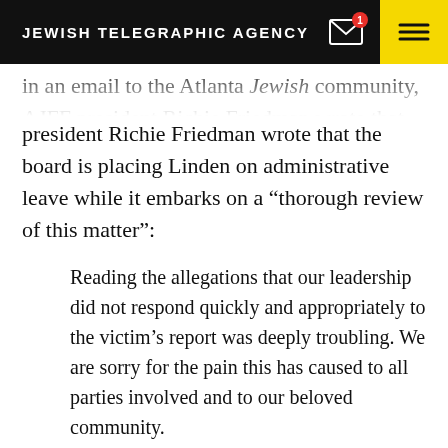JEWISH TELEGRAPHIC AGENCY
...president Richie Friedman wrote that the board is placing Linden on administrative leave while it embarks on a “thorough review of this matter”:
Reading the allegations that our leadership did not respond quickly and appropriately to the victim’s report was deeply troubling. We are sorry for the pain this has caused to all parties involved and to our beloved community.
GET JTA'S DAILY BRIEFING